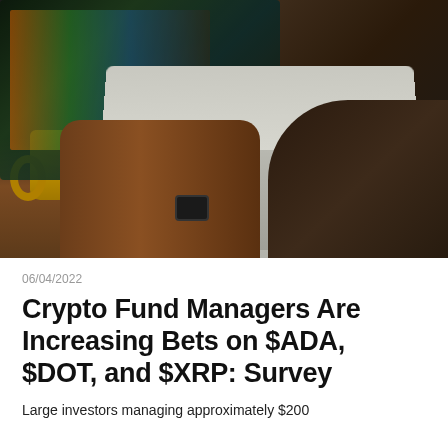[Figure (photo): Person typing on a laptop at a wooden desk with a yellow mug, charts visible on screen, wearing a dark t-shirt and smartwatch]
06/04/2022
Crypto Fund Managers Are Increasing Bets on $ADA, $DOT, and $XRP: Survey
Large investors managing approximately $200